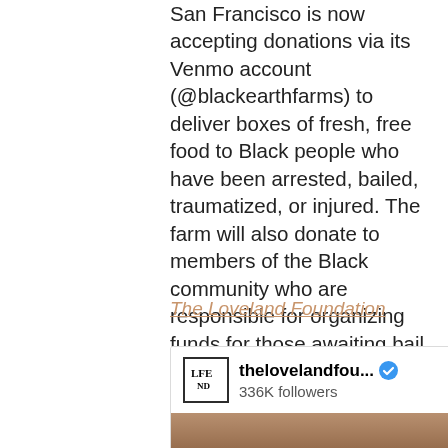San Francisco is now accepting donations via its Venmo account (@blackearthfarms) to deliver boxes of fresh, free food to Black people who have been arrested, bailed, traumatized, or injured. The farm will also donate to members of the Black community who are responsible for organizing funds for those awaiting bail and protestors who need medical attention. Direct message Black Earth Farms on Instagram for more information.
The Loveland Foundation
[Figure (screenshot): Instagram profile card for thelovelandfou... with verified badge, 336K followers, and a View profile button. Below shows partial portrait photo.]